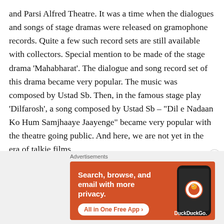and Parsi Alfred Theatre. It was a time when the dialogues and songs of stage dramas were released on gramophone records. Quite a few such record sets are still available with collectors. Special mention to be made of the stage drama 'Mahabharat'. The dialogue and song record set of this drama became very popular. The music was composed by Ustad Sb. Then, in the famous stage play 'Dilfarosh', a song composed by Ustad Sb – “Dil e Nadaan Ko Hum Samjhaaye Jaayenge” became very popular with the theatre going public. And here, we are not yet in the era of talkie films.
Advertisements
[Figure (other): DuckDuckGo advertisement banner with orange background showing 'Search, browse, and email with more privacy. All in One Free App' with a phone image and DuckDuckGo logo]